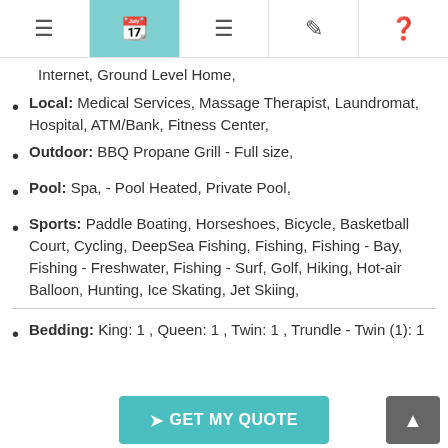Navigation bar with menu, calendar, list, edit, and help icons
Internet, Ground Level Home,
Local: Medical Services, Massage Therapist, Laundromat, Hospital, ATM/Bank, Fitness Center,
Outdoor: BBQ Propane Grill - Full size,
Pool: Spa, - Pool Heated, Private Pool,
Sports: Paddle Boating, Horseshoes, Bicycle, Basketball Court, Cycling, DeepSea Fishing, Fishing, Fishing - Bay, Fishing - Freshwater, Fishing - Surf, Golf, Hiking, Hot-air Balloon, Hunting, Ice Skating, Jet Skiing,
Bedding: King: 1 , Queen: 1 , Twin: 1 , Trundle - Twin (1): 1